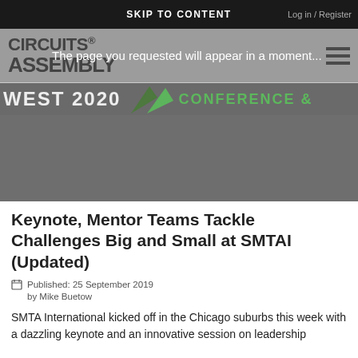SKIP TO CONTENT
Log in / Register
[Figure (logo): Circuits Assembly logo with hamburger menu icon]
The page you requested will appear in a moment...
[Figure (screenshot): Partial banner with WEST 2020 text, green triangle graphics, and CONFERENCE text]
Keynote, Mentor Teams Tackle Challenges Big and Small at SMTAI (Updated)
Published: 25 September 2019
by Mike Buetow
SMTA International kicked off in the Chicago suburbs this week with a dazzling keynote and an innovative session on leadership